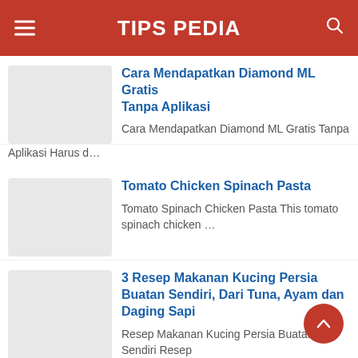TIPS PEDIA
Cara Mendapatkan Diamond ML Gratis Tanpa Aplikasi
Cara Mendapatkan Diamond ML Gratis Tanpa Aplikasi Harus d…
Tomato Chicken Spinach Pasta
Tomato Spinach Chicken Pasta This tomato spinach chicken …
3 Resep Makanan Kucing Persia Buatan Sendiri, Dari Tuna, Ayam dan Daging Sapi
Resep Makanan Kucing Persia Buatan Sendiri Resep Makanan Ku…
Marry Me Chicken
Marry Me Chicken INGREDIENTS 2 tablespoons olive oil 2…